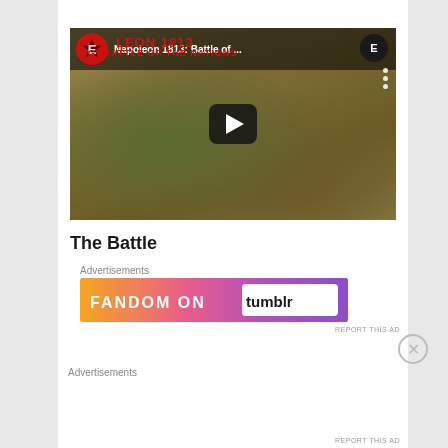[Figure (screenshot): YouTube video thumbnail for Napoleon 1813: Battle of the Nations showing a battlefield map with troop movements and a play button overlay]
The Battle
Advertisements
[Figure (other): Fandom on Tumblr advertisement banner with orange to purple gradient]
REPORT THIS AD
Advertisements
REPORT THIS AD